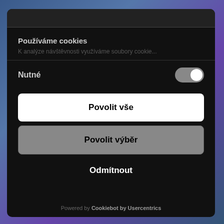[Figure (screenshot): Background blurred webpage with blue and purple tones]
Používáme cookies
K analýze návštěvnosti využíváme soubory cookie...
Nutné
Povolit vše
Povolit výběr
Odmítnout
Powered by Cookiebot by Usercentrics